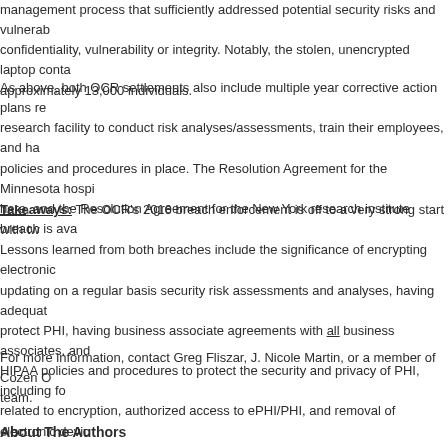management process that sufficiently addressed potential security risks and vulnerabilities affecting the confidentiality, vulnerability or integrity. Notably, the stolen, unencrypted laptop contained ePHI of approximately 13,000 individuals.
As above, both OCR settlements also include multiple year corrective action plans requiring each research facility to conduct risk analyses/assessments, train their employees, and have appropriate policies and procedures in place. The Resolution Agreement for the Minnesota hospital breach is available here, and the Resolution Agreement for the New York research institute breach is ava...
Takeaways: The OCR's 2016 breach enforcement is off to a very strong start with two settlements. Lessons learned from both breaches include the significance of encrypting electronic devices and updating on a regular basis security risk assessments and analyses, having adequate safeguards to protect PHI, having business associate agreements with all business associates, and having comprehensive HIPAA policies and procedures to protect the security and privacy of PHI, including for matters related to encryption, authorized access to ePHI/PHI, and removal of electronic devi...
For more information, contact Greg Fliszar, J. Nicole Martin, or a member of Cozen O... team.
About The Authors